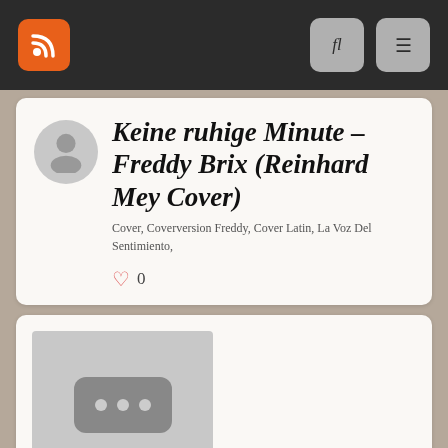Navigation bar with RSS, search, and menu icons
Keine ruhige Minute – Freddy Brix (Reinhard Mey Cover)
Cover, Coverversion Freddy, Cover Latin, La Voz Del Sentimiento,
0
[Figure (photo): Video thumbnail placeholder with three dots icon]